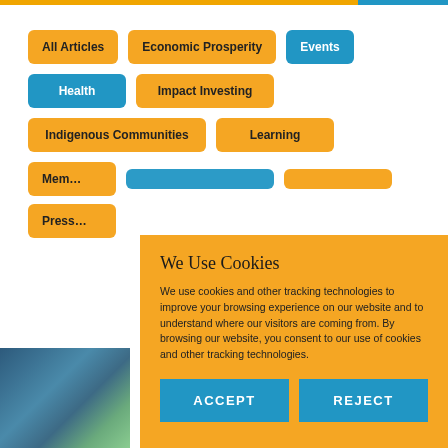All Articles
Economic Prosperity
Events
Health
Impact Investing
Indigenous Communities
Learning
Mem…
Press…
We Use Cookies
We use cookies and other tracking technologies to improve your browsing experience on our website and to understand where our visitors are coming from. By browsing our website, you consent to our use of cookies and other tracking technologies.
ACCEPT
REJECT
[Figure (photo): Photo of people in outdoor setting, partially visible at bottom left]